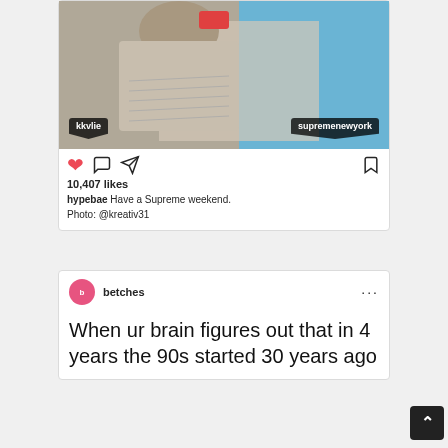[Figure (screenshot): Instagram post photo showing a person writing, with location tags 'kkvlie' and 'supremenewyork']
10,407 likes
hypebae Have a Supreme weekend. Photo: @kreativ31
[Figure (screenshot): Instagram post by betches account showing meme text]
betches
When ur brain figures out that in 4 years the 90s started 30 years ago